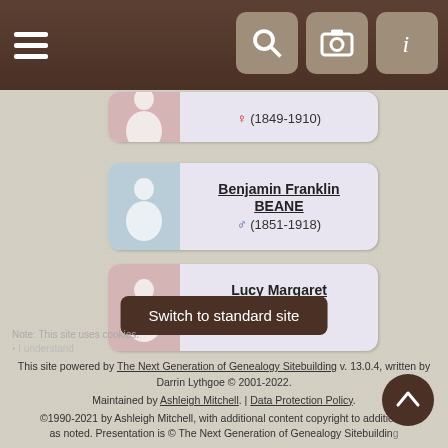[Figure (screenshot): Mobile genealogy app navigation bar with hamburger menu and search/camera/info icons]
[Figure (screenshot): Partial person card showing female (1849-1910)]
Benjamin Franklin BEANE ♂ (1851-1918)
Lucy Margaret BEANE ♀ (1853-1945)
Switch to standard site
This site powered by The Next Generation of Genealogy Sitebuilding v. 13.0.4, written by Darrin Lythgoe © 2001-2022. Maintained by Ashleigh Mitchell. | Data Protection Policy. ©1990-2021 by Ashleigh Mitchell, with additional content copyright to additional authors as noted. Presentation is © The Next Generation of Genealogy Sitebuilding